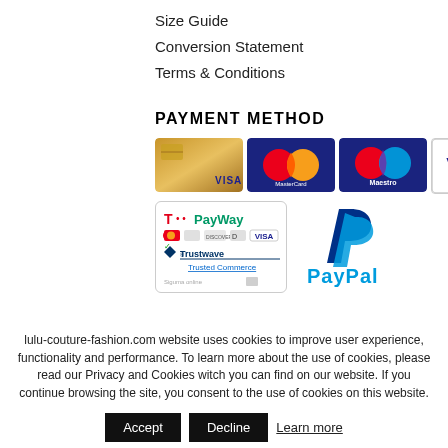Size Guide
Conversion Statement
Terms & Conditions
PAYMENT METHOD
[Figure (other): Payment method logos: Visa Gold card, MasterCard, Maestro, Visa, T-Mobile PayWay with Trustwave Trusted Commerce badge, PayPal logo]
lulu-couture-fashion.com website uses cookies to improve user experience, functionality and performance. To learn more about the use of cookies, please read our Privacy and Cookies witch you can find on our website. If you continue browsing the site, you consent to the use of cookies on this website.
Accept   Decline   Learn more